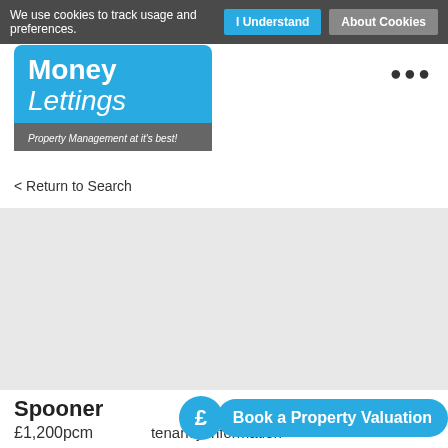We use cookies to track usage and preferences. | I Understand | About Cookies
[Figure (logo): Money Lettings logo — blue background with white bold 'Money' and italic 'Lettings' text, gray bar below with italic text 'Property Management at it's best!']
< Return to Search
[Figure (photo): Gray placeholder image area for property photo]
Spooner
£1,200pcm
tenancy information
[Figure (infographic): Cyan 'Book a Property Valuation' button with pound sign circle icon]